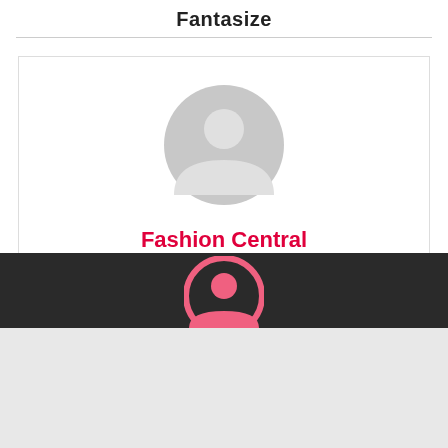Fantasize
[Figure (illustration): User profile card with gray default avatar icon and red bold text 'Fashion Central' below it, inside a bordered white card]
Fashion Central
[Figure (illustration): Dark/black section at bottom of page with a pink circular avatar icon partially visible, transitioning to a light gray section below]